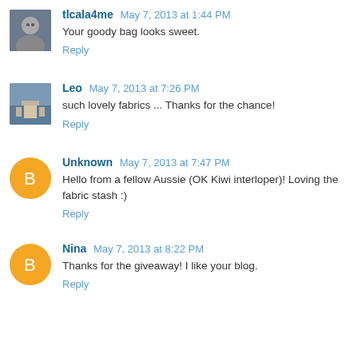tlcala4me May 7, 2013 at 1:44 PM
Your goody bag looks sweet.
Reply
Leo May 7, 2013 at 7:26 PM
such lovely fabrics ... Thanks for the chance!
Reply
Unknown May 7, 2013 at 7:47 PM
Hello from a fellow Aussie (OK Kiwi interloper)! Loving the fabric stash :)
Reply
Nina May 7, 2013 at 8:22 PM
Thanks for the giveaway! I like your blog.
Reply